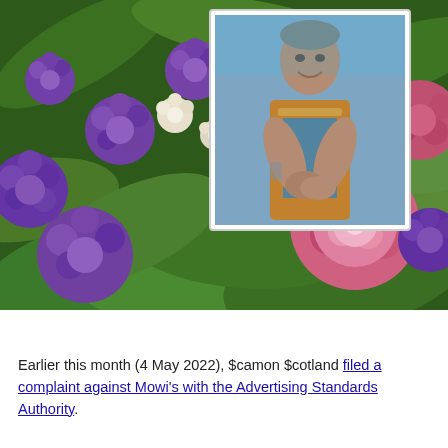[Figure (photo): A close-up photo of colorful flowers — purple, pink, and white blooms with green foliage — with a framed photograph of an older man wearing an orange high-visibility vest placed among the flowers.]
Earlier this month (4 May 2022), $camon $cotland filed a complaint against Mowi's with the Advertising Standards Authority.